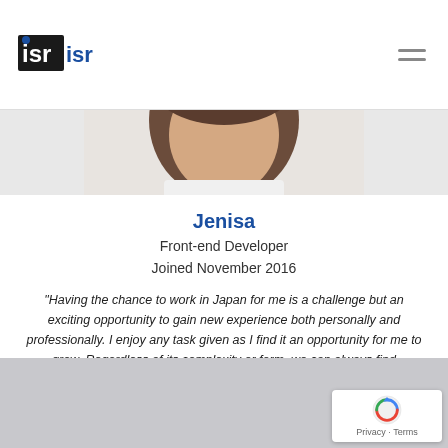ISR logo and navigation menu
[Figure (photo): Partial photo of a person (Jenisa) cropped to show top of head, hair visible, white background]
Jenisa
Front-end Developer
Joined November 2016
“Having the chance to work in Japan for me is a challenge but an exciting opportunity to gain new experience both personally and professionally. I enjoy any task given as I find it an opportunity for me to grow. Regardless of its complexity or form, we can always find something to learn and improve on.”
[Figure (other): Grey background section at bottom with reCAPTCHA badge showing Privacy and Terms links]